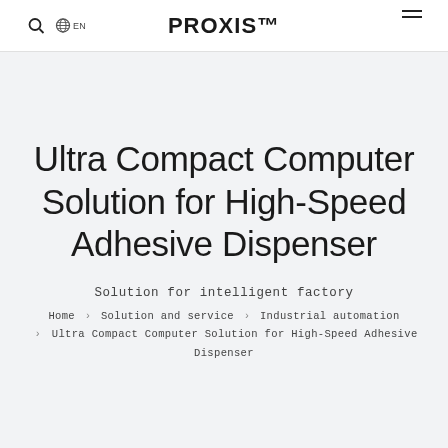PROXIS™
Ultra Compact Computer Solution for High-Speed Adhesive Dispenser
Solution for intelligent factory
Home > Solution and service > Industrial automation > Ultra Compact Computer Solution for High-Speed Adhesive Dispenser